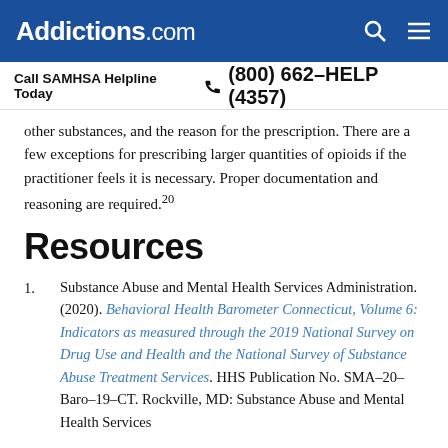Addictions.com
Call SAMHSA Helpline Today  (800) 662–HELP (4357)
other substances, and the reason for the prescription. There are a few exceptions for prescribing larger quantities of opioids if the practitioner feels it is necessary. Proper documentation and reasoning are required.20
Resources
Substance Abuse and Mental Health Services Administration. (2020). Behavioral Health Barometer Connecticut, Volume 6: Indicators as measured through the 2019 National Survey on Drug Use and Health and the National Survey of Substance Abuse Treatment Services. HHS Publication No. SMA–20–Baro–19–CT. Rockville, MD: Substance Abuse and Mental Health Services